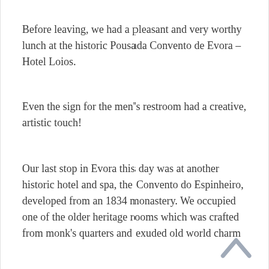Before leaving, we had a pleasant and very worthy lunch at the historic Pousada Convento de Evora – Hotel Loios.
Even the sign for the men's restroom had a creative, artistic touch!
Our last stop in Evora this day was at another historic hotel and spa, the Convento do Espinheiro, developed from an 1834 monastery. We occupied one of the older heritage rooms which was crafted from monk's quarters and exuded old world charm